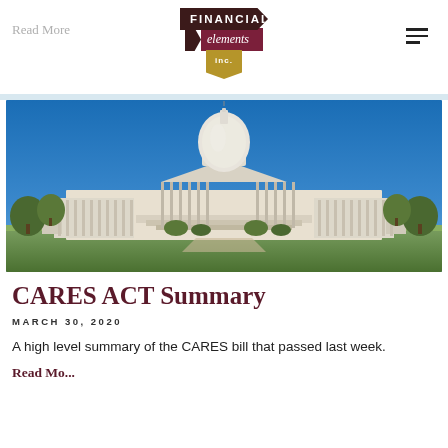Read More | FINANCIAL elements inc.
[Figure (photo): Photograph of the United States Capitol Building with a blue sky background and green lawns in the foreground]
CARES ACT Summary
MARCH 30, 2020
A high level summary of the CARES bill that passed last week.
Read Mo...